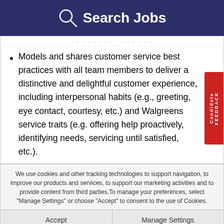Search Jobs
Models and shares customer service best practices with all team members to deliver a distinctive and delightful customer experience, including interpersonal habits (e.g., greeting, eye contact, courtesy, etc.) and Walgreens service traits (e.g. offering help proactively, identifying needs, servicing until satisfied, etc.).
We use cookies and other tracking technologies to support navigation, to improve our products and services, to support our marketing activities and to provide content from third parties. To manage your preferences, select "Manage Settings" or choose "Accept" to consent to the use of Cookies.
Accept | Manage Settings